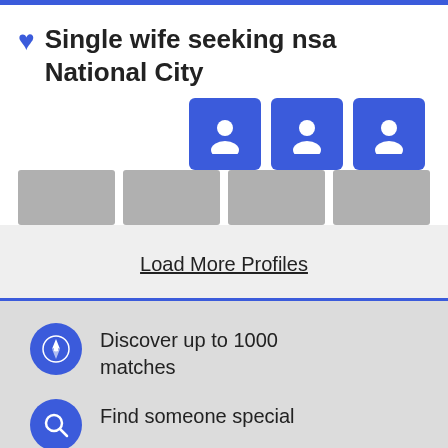♥ Single wife seeking nsa National City
[Figure (screenshot): Three blue rounded square profile placeholder icons in a row]
[Figure (screenshot): Four gray rectangular placeholder bars in a row]
Load More Profiles
Discover up to 1000 matches
Find someone special